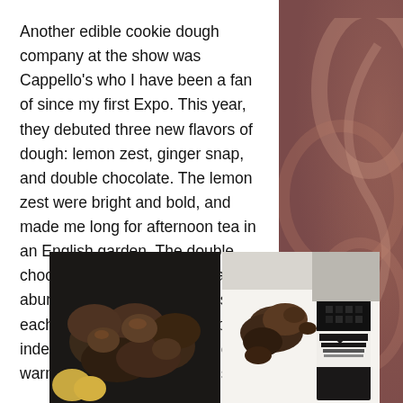Another edible cookie dough company at the show was Cappello's who I have been a fan of since my first Expo. This year, they debuted three new flavors of dough: lemon zest, ginger snap, and double chocolate. The lemon zest were bright and bold, and made me long for afternoon tea in an English garden. The double chocolate was cocoa-y with an abundance of chocolate chips in each cookie. The ginger snap did indeed have a bite, but I loved the warm spiciness of the cookies.
[Figure (photo): Two photos side by side: left shows dark chocolate cookies on a dark surface with a yellow/white item, right shows Cappello's branded packaging with cookie pieces on a white surface]